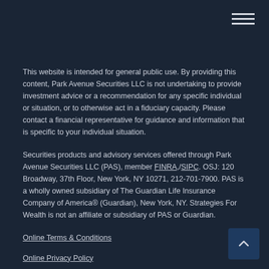This website is intended for general public use. By providing this content, Park Avenue Securities LLC is not undertaking to provide investment advice or a recommendation for any specific individual or situation, or to otherwise act in a fiduciary capacity. Please contact a financial representative for guidance and information that is specific to your individual situation.
Securities products and advisory services offered through Park Avenue Securities LLC (PAS), member FINRA,/SIPC. OSJ: 120 Broadway, 37th Floor, New York, NY 10271, 212-701-7900. PAS is a wholly owned subsidiary of The Guardian Life Insurance Company of America® (Guardian), New York, NY. Strategies For Wealth is not an affiliate or subsidiary of PAS or Guardian.
Online Terms & Conditions
Online Privacy Policy
Important Disclosures
2022-135876 Exp. 03/24